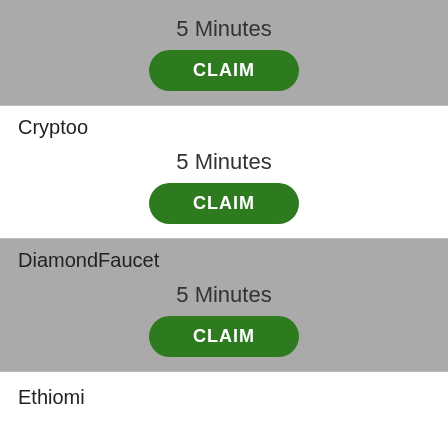5 Minutes
CLAIM
Cryptoo
5 Minutes
CLAIM
DiamondFaucet
5 Minutes
CLAIM
Ethiomi